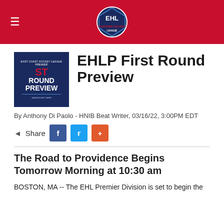EHL header with logo
EHLP First Round Preview
By Anthony Di Paolo - HNIB Beat Writer, 03/16/22, 3:00PM EDT
Share
The Road to Providence Begins Tomorrow Morning at 10:30 am
BOSTON, MA -- The EHL Premier Division is set to begin the